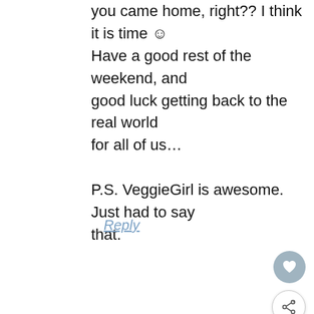you came home, right?? I think it is time 🙂 Have a good rest of the weekend, and good luck getting back to the real world for all of us…

P.S. VeggieGirl is awesome. Just had to say that.
Reply
Anna @ Newlywed, Newly Veg says
January 2, 2010 at 10:25 pm
[Figure (infographic): We Stand Together advertisement banner with group photo of people with arms around each other]
WHAT'S NEXT → Your Nightly Entertainment